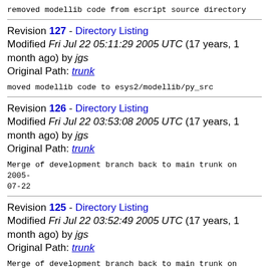removed modellib code from escript source directory
Revision 127 - Directory Listing
Modified Fri Jul 22 05:11:29 2005 UTC (17 years, 1 month ago) by jgs
Original Path: trunk
moved modellib code to esys2/modellib/py_src
Revision 126 - Directory Listing
Modified Fri Jul 22 03:53:08 2005 UTC (17 years, 1 month ago) by jgs
Original Path: trunk
Merge of development branch back to main trunk on 2005-07-22
Revision 125 - Directory Listing
Modified Fri Jul 22 03:52:49 2005 UTC (17 years, 1 month ago) by jgs
Original Path: trunk
Merge of development branch back to main trunk on 2005-